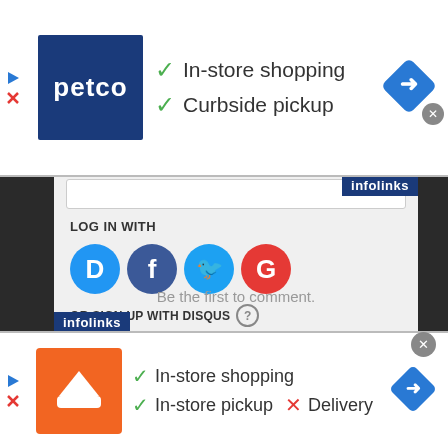[Figure (screenshot): Petco advertisement banner showing logo, checkmarks for In-store shopping and Curbside pickup, navigation diamond button]
LOG IN WITH
[Figure (screenshot): Social login icons: Disqus (D), Facebook (f), Twitter (bird), Google (G)]
OR SIGN UP WITH DISQUS (?)
Name
Be the first to comment.
[Figure (screenshot): Boost Mobile advertisement banner showing logo, checkmarks for In-store shopping and In-store pickup, X for Delivery]